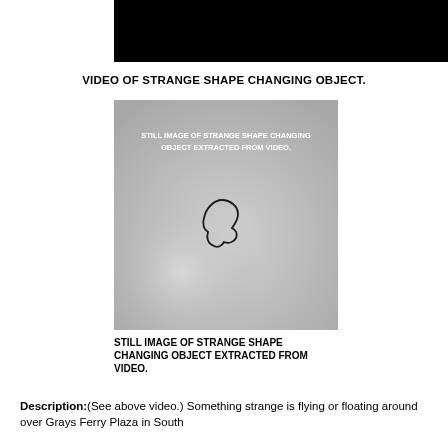[Figure (photo): Black bar at top of page, partially visible, appears to be a cropped video frame]
VIDEO OF STRANGE SHAPE CHANGING OBJECT.
[Figure (photo): Still image extracted from video showing a strange shape-changing object against a gray background. The object appears in the center as a dark irregular curved shape. White text overlay reads: STILL IMAGE OF STRANGE SHAPE CHANGING OBJECT EXTRACTED FROM VIDEO.]
STILL IMAGE OF STRANGE SHAPE CHANGING OBJECT EXTRACTED FROM VIDEO.
Description:(See above video.) Something strange is flying or floating around over Grays Ferry Plaza in South